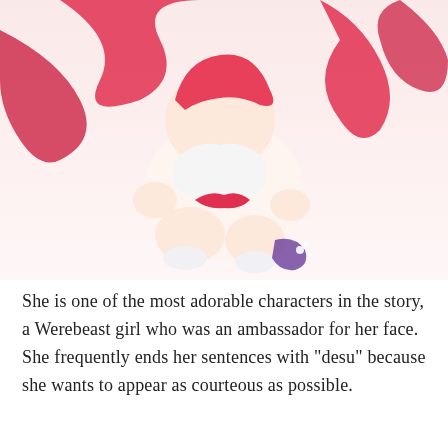[Figure (illustration): Anime-style illustration of a Werebeast girl character with red ribbons and white outfit, shown from a low angle]
She is one of the most adorable characters in the story, a Werebeast girl who was an ambassador for her face. She frequently ends her sentences with “desu” because she wants to appear as courteous as possible.
When she met Shiro and Sora, she had never had a good time playing games because they were a matter of politics. Her encounter with them was unforgettable since it took place in their virtual reality environment.
1. Danganronpa: Toko Fukawa Has Two Personalities That Are Both Memorable